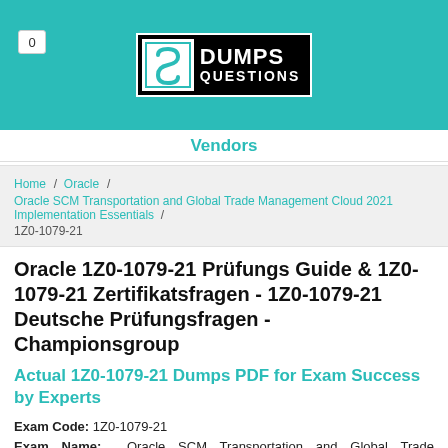[Figure (logo): DumpsQuestions logo with teal header bar and cart badge showing 0]
Vendors
Home / Oracle / Oracle SCM Transportation and Global Trade Management Cloud 2021 Implementation Essentials / 1Z0-1079-21
Oracle 1Z0-1079-21 Prüfungs Guide & 1Z0-1079-21 Zertifikatsfragen - 1Z0-1079-21 Deutsche Prüfungsfragen - Championsgroup
Actual 1Z0-1079-21 Dumps PDF for Exam Success by Experts
Exam Code: 1Z0-1079-21
Exam Name: Oracle SCM Transportation and Global Trade Management Cloud 2021 Implementation Essentials